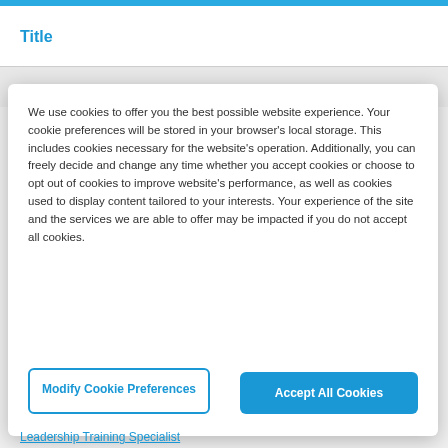Title
78296
We use cookies to offer you the best possible website experience. Your cookie preferences will be stored in your browser's local storage. This includes cookies necessary for the website's operation. Additionally, you can freely decide and change any time whether you accept cookies or choose to opt out of cookies to improve website's performance, as well as cookies used to display content tailored to your interests. Your experience of the site and the services we are able to offer may be impacted if you do not accept all cookies.
Modify Cookie Preferences
Accept All Cookies
Leadership Training Specialist